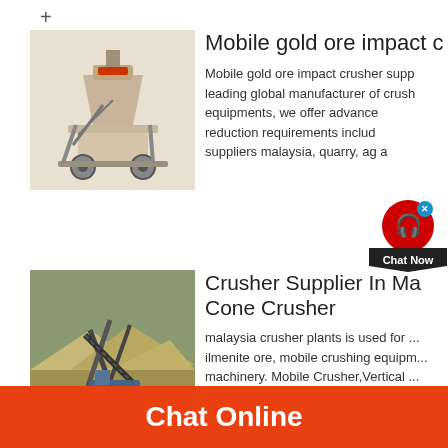+
Mobile gold ore impact c...
[Figure (photo): Cone crusher machine, beige/cream colored industrial equipment on wheels]
Mobile gold ore impact crusher supp... leading global manufacturer of crush... equipments, we offer advance... reduction requirements includ... suppliers malaysia, quarry, ag... a...
Crusher Supplier In Ma... Cone Crusher
[Figure (photo): Aerial view of industrial crusher/conveyor equipment in a quarry with sand piles]
malaysia crusher plants is used for ... ilmenite ore, mobile crushing equipm... machinery. Mobile Crusher,Vertical ...
Mobile crushing plant fo...
[Figure (photo): Partial view of a mobile crushing plant, blue and grey equipment]
Chat Online